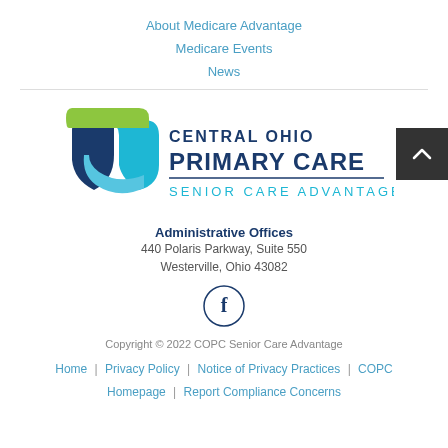About Medicare Advantage
Medicare Events
News
[Figure (logo): Central Ohio Primary Care Senior Care Advantage logo with stylized shield/ribbon mark in blue and green]
Administrative Offices
440 Polaris Parkway, Suite 550
Westerville, Ohio 43082
[Figure (other): Facebook icon in a circle]
Copyright © 2022 COPC Senior Care Advantage
Home | Privacy Policy | Notice of Privacy Practices | COPC Homepage | Report Compliance Concerns